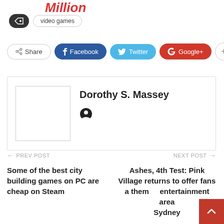Million
video games
Share  Facebook  Twitter  Google+
Dorothy S. Massey
PREV POST  Some of the best city building games on PC are cheap on Steam
NEXT POST  Ashes, 4th Test: Pink Village returns to offer fans a themed entertainment area Sydney